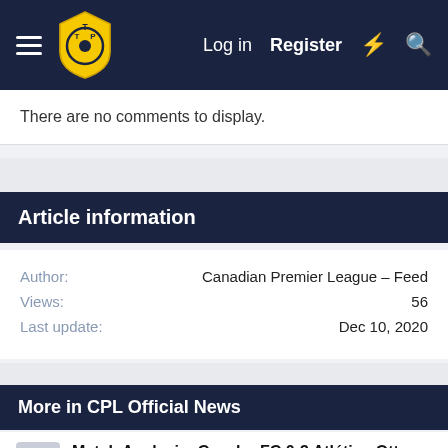[Figure (logo): Navigation bar with hamburger menu, TTP shield logo, Log in, Register, lightning bolt icon, and search icon on dark navy background]
There are no comments to display.
Article information
| Field | Value |
| --- | --- |
| Author: | Canadian Premier League – Feed |
| Views: | 56 |
| Last update: | Dec 10, 2020 |
More in CPL Official News
Match Analysis: Cavalry FC 0-3 Atlético Ottawa – CPL Match #82
Final Score: Cavalry FC 0-3 Atlético Ottawa Goalscorers: Alemán 45+3l...